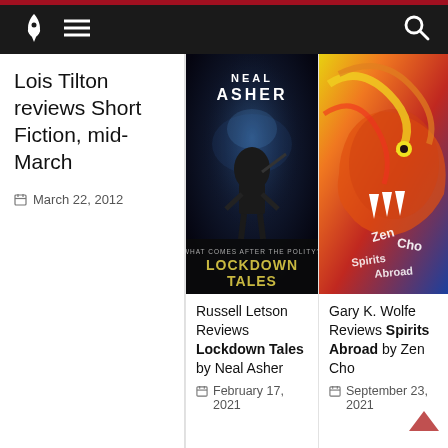Locus Magazine – navigation header with logo, menu, and search
Lois Tilton reviews Short Fiction, mid-March
March 22, 2012
[Figure (illustration): Book cover: Neal Asher – Lockdown Tales. Dark sci-fi cover showing an armored figure with text 'WHAT COMES AFTER THE POLITY? LOCKDOWN TALES']
Russell Letson Reviews Lockdown Tales by Neal Asher
February 17, 2021
[Figure (illustration): Book cover: Zen Cho – Spirits Abroad. Colorful cover with a dragon and stylized text 'ZEN CHO SPIRITS ABROAD']
Gary K. Wolfe Reviews Spirits Abroad by Zen Cho
September 23, 2021